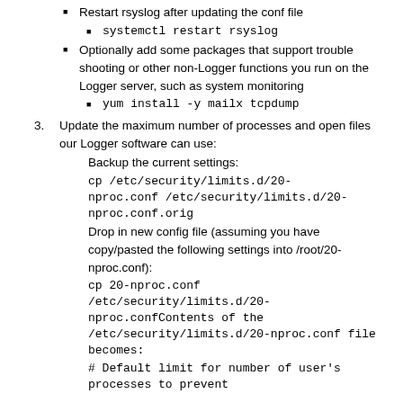Restart rsyslog after updating the conf file
systemctl restart rsyslog
Optionally add some packages that support trouble shooting or other non-Logger functions you run on the Logger server, such as system monitoring
yum install -y mailx tcpdump
Update the maximum number of processes and open files our Logger software can use:
Backup the current settings:
cp /etc/security/limits.d/20-nproc.conf /etc/security/limits.d/20-nproc.conf.orig
Drop in new config file (assuming you have copy/pasted the following settings into /root/20-nproc.conf):
cp 20-nproc.conf /etc/security/limits.d/20-nproc.confContents of the /etc/security/limits.d/20-nproc.conf file becomes:
# Default limit for number of user's processes to prevent